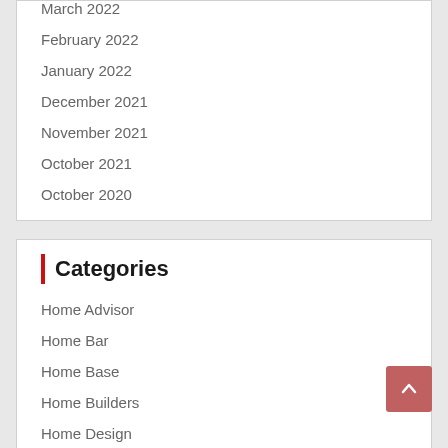March 2022
February 2022
January 2022
December 2021
November 2021
October 2021
October 2020
Categories
Home Advisor
Home Bar
Home Base
Home Builders
Home Design
Home Ideas